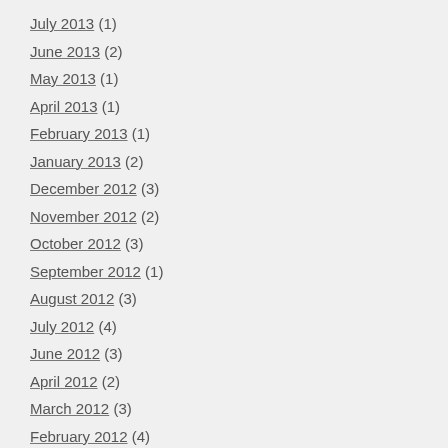July 2013 (1)
June 2013 (2)
May 2013 (1)
April 2013 (1)
February 2013 (1)
January 2013 (2)
December 2012 (3)
November 2012 (2)
October 2012 (3)
September 2012 (1)
August 2012 (3)
July 2012 (4)
June 2012 (3)
April 2012 (2)
March 2012 (3)
February 2012 (4)
January 2012 (6)
December 2011 (2)
November 2011 (4)